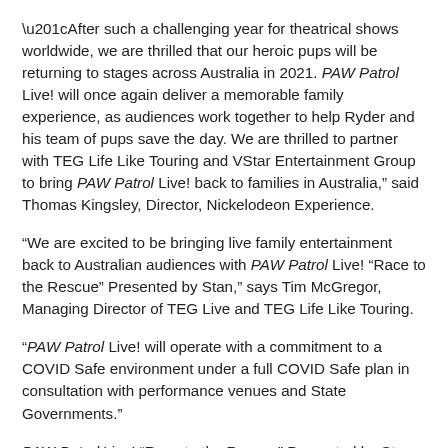“After such a challenging year for theatrical shows worldwide, we are thrilled that our heroic pups will be returning to stages across Australia in 2021. PAW Patrol Live! will once again deliver a memorable family experience, as audiences work together to help Ryder and his team of pups save the day. We are thrilled to partner with TEG Life Like Touring and VStar Entertainment Group to bring PAW Patrol Live! back to families in Australia,” said Thomas Kingsley, Director, Nickelodeon Experience.
“We are excited to be bringing live family entertainment back to Australian audiences with PAW Patrol Live! “Race to the Rescue” Presented by Stan,” says Tim McGregor, Managing Director of TEG Live and TEG Life Like Touring.
“PAW Patrol Live! will operate with a commitment to a COVID Safe environment under a full COVID Safe plan in consultation with performance venues and State Governments.”
PAW Patrol Live! “Race to the Rescue” Presented by Stan